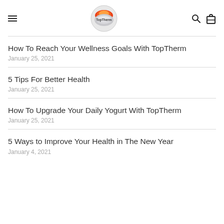TopTherm
How To Reach Your Wellness Goals With TopTherm
January 25, 2021
5 Tips For Better Health
January 25, 2021
How To Upgrade Your Daily Yogurt With TopTherm
January 25, 2021
5 Ways to Improve Your Health in The New Year
January 4, 2021